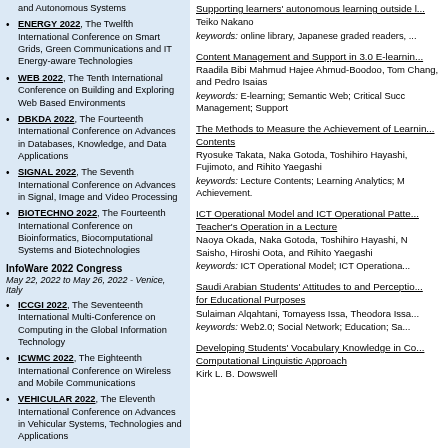and Autonomous Systems
ENERGY 2022, The Twelfth International Conference on Smart Grids, Green Communications and IT Energy-aware Technologies
WEB 2022, The Tenth International Conference on Building and Exploring Web Based Environments
DBKDA 2022, The Fourteenth International Conference on Advances in Databases, Knowledge, and Data Applications
SIGNAL 2022, The Seventh International Conference on Advances in Signal, Image and Video Processing
BIOTECHNO 2022, The Fourteenth International Conference on Bioinformatics, Biocomputational Systems and Biotechnologies
InfoWare 2022 Congress
May 22, 2022 to May 26, 2022 - Venice, Italy
ICCGI 2022, The Seventeenth International Multi-Conference on Computing in the Global Information Technology
ICWMC 2022, The Eighteenth International Conference on Wireless and Mobile Communications
VEHICULAR 2022, The Eleventh International Conference on Advances in Vehicular Systems, Technologies and Applications
INTERNET 2022, The Fourteenth International Conference on Evolving Internet
COLLA 2022, The Twelfth International Conference on Advanced Collaborative Networks, Systems and Applications
INTELLI 2022, The Eleventh International Conference on Intelligent Systems and Applications
VISUAL 2022, The Seventh
Supporting learners' autonomous learning outside b
Teiko Nakano
keywords: online library, Japanese graded readers,
Content Management and Support in 3.0 E-learning
Raadila Bibi Mahmud Hajee Ahmud-Boodoo, Tom Chang, and Pedro Isaias
keywords: E-learning; Semantic Web; Critical Succ Management; Support
The Methods to Measure the Achievement of Learn Contents
Ryosuke Takata, Naka Gotoda, Toshihiro Hayashi, Fujimoto, and Rihito Yaegashi
keywords: Lecture Contents; Learning Analytics; M Achievement.
ICT Operational Model and ICT Operational Patter Teacher's Operation in a Lecture
Naoya Okada, Naka Gotoda, Toshihiro Hayashi, N Saisho, Hiroshi Oota, and Rihito Yaegashi
keywords: ICT Operational Model; ICT Operationa
Saudi Arabian Students' Attitudes to and Perceptio for Educational Purposes
Sulaiman Alqahtani, Tomayess Issa, Theodora Issa keywords: Web2.0; Social Network; Education; Sa
Developing Students' Vocabulary Knowledge in Co Computational Linguistic Approach
Kirk L. B. Dowswell